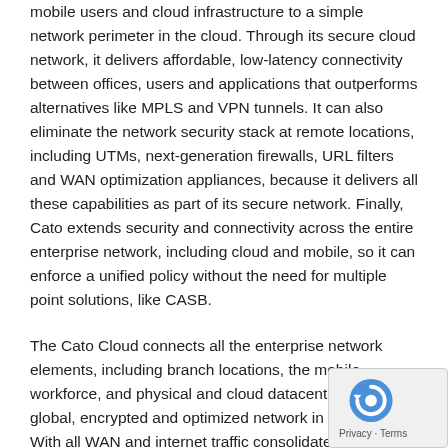mobile users and cloud infrastructure to a simple network perimeter in the cloud. Through its secure cloud network, it delivers affordable, low-latency connectivity between offices, users and applications that outperforms alternatives like MPLS and VPN tunnels. It can also eliminate the network security stack at remote locations, including UTMs, next-generation firewalls, URL filters and WAN optimization appliances, because it delivers all these capabilities as part of its secure network. Finally, Cato extends security and connectivity across the entire enterprise network, including cloud and mobile, so it can enforce a unified policy without the need for multiple point solutions, like CASB.
The Cato Cloud connects all the enterprise network elements, including branch locations, the mobile workforce, and physical and cloud datacenters, to a global, encrypted and optimized network in the cloud. With all WAN and internet traffic consolidated in the cloud, Cato applies a set of enterprise grade network security services to protect the traffic at all times. The Cato Cloud is seamlessly and continuously updated by Cato's dedicated networking and security experts, to ensure maximum service availability, optimal network performance, and the highest level of protection against emerging threats. Therefore, no steps to patch